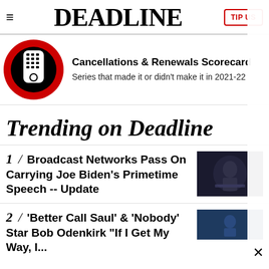DEADLINE
Cancellations & Renewals Scorecard
Series that made it or didn't make it in 2021-22
Trending on Deadline
1 / Broadcast Networks Pass On Carrying Joe Biden's Primetime Speech -- Update
2 / 'Better Call Saul' & 'Nobody' Star Bob Odenkirk "If I Get My Way, I...